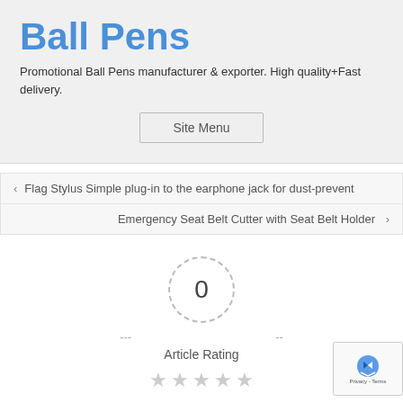Ball Pens
Promotional Ball Pens manufacturer & exporter. High quality+Fast delivery.
[Figure (other): Site Menu button]
‹ Flag Stylus Simple plug-in to the earphone jack for dust-prevent
Emergency Seat Belt Cutter with Seat Belt Holder ›
[Figure (other): Article rating circle showing 0, with dashes and Article Rating label below, followed by 5 empty stars]
[Figure (other): reCAPTCHA badge with Privacy - Terms text]